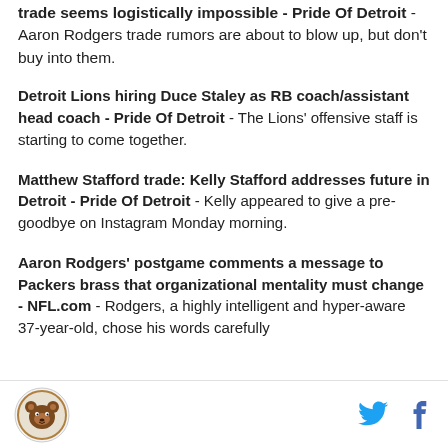trade seems logistically impossible - Pride Of Detroit - Aaron Rodgers trade rumors are about to blow up, but don't buy into them.
Detroit Lions hiring Duce Staley as RB coach/assistant head coach - Pride Of Detroit - The Lions' offensive staff is starting to come together.
Matthew Stafford trade: Kelly Stafford addresses future in Detroit - Pride Of Detroit - Kelly appeared to give a pre-goodbye on Instagram Monday morning.
Aaron Rodgers' postgame comments a message to Packers brass that organizational mentality must change - NFL.com - Rodgers, a highly intelligent and hyper-aware 37-year-old, chose his words carefully
[logo] [twitter] [facebook]